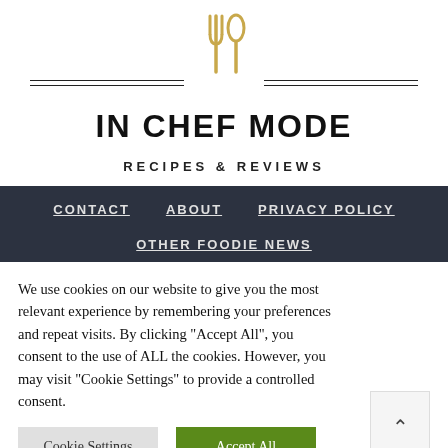[Figure (logo): Fork and spoon icon in golden/tan color with double horizontal lines on each side]
IN CHEF MODE
RECIPES & REVIEWS
CONTACT   ABOUT   PRIVACY POLICY
OTHER FOODIE NEWS
We use cookies on our website to give you the most relevant experience by remembering your preferences and repeat visits. By clicking "Accept All", you consent to the use of ALL the cookies. However, you may visit "Cookie Settings" to provide a controlled consent.
Cookie Settings   Accept All